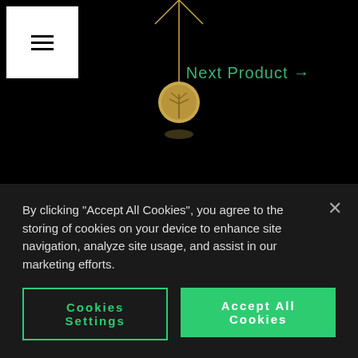[Figure (photo): Gold medallion necklace hanging against black background]
Next Product →
Customer Reviews
★★★★★ Based on 3 reviews
5 stars 100% (3)
4 stars 0% (0)
By clicking "Accept All Cookies", you agree to the storing of cookies on your device to enhance site navigation, analyze site usage, and assist in our marketing efforts.
Cookies Settings
Accept All Cookies